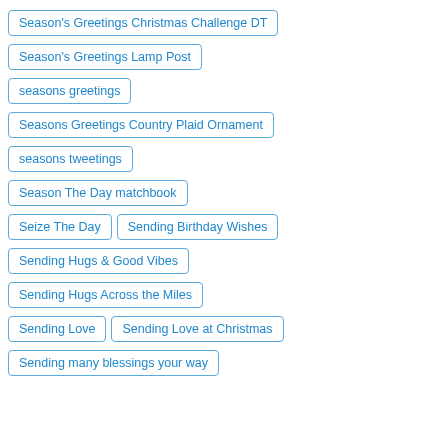Season's Greetings Christmas Challenge DT
Season's Greetings Lamp Post
seasons greetings
Seasons Greetings Country Plaid Ornament
seasons tweetings
Season The Day matchbook
Seize The Day
Sending Birthday Wishes
Sending Hugs & Good Vibes
Sending Hugs Across the Miles
Sending Love
Sending Love at Christmas
Sending many blessings your way